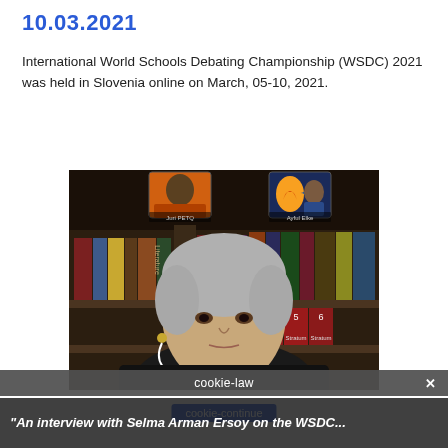10.03.2021
International World Schools Debating Championship (WSDC) 2021 was held in Slovenia online on March, 05-10, 2021.
[Figure (photo): Screenshot of a video call showing an elderly woman with short gray hair wearing a black top and white earphones, with a bookshelf behind her. Two smaller participant windows visible at the top showing other participants.]
"An Interview with Selma Arman Ersoy on the WSDC..."
cookie-law
cookie-continue